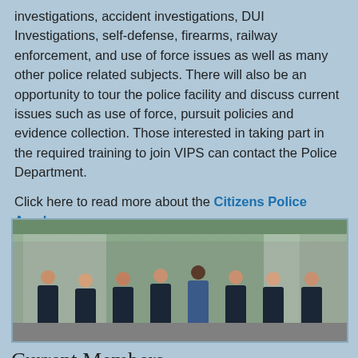investigations, accident investigations, DUI Investigations, self-defense, firearms, railway enforcement, and use of force issues as well as many other police related subjects. There will also be an opportunity to tour the police facility and discuss current issues such as use of force, pursuit policies and evidence collection. Those interested in taking part in the required training to join VIPS can contact the Police Department.
Click here to read more about the Citizens Police Academy.
[Figure (photo): Group photo of approximately 8 people in dark police/volunteer uniforms with blue shirts standing in a parking lot in front of police vehicles]
Current Members